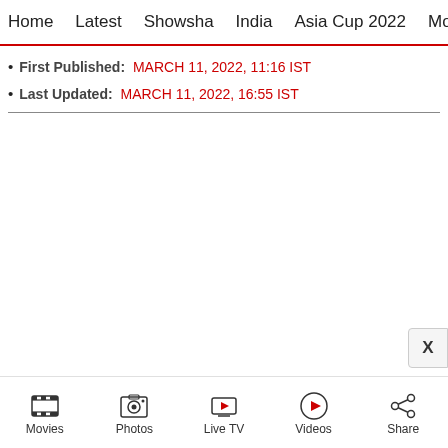Home  Latest  Showsha  India  Asia Cup 2022  Movies  C
First Published: MARCH 11, 2022, 11:16 IST
Last Updated: MARCH 11, 2022, 16:55 IST
[Figure (other): Empty white content area with X close button on the right]
Movies  Photos  Live TV  Videos  Share